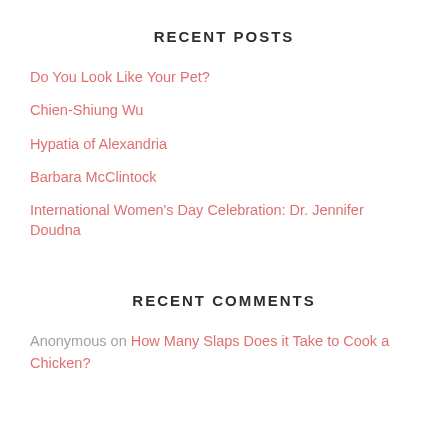RECENT POSTS
Do You Look Like Your Pet?
Chien-Shiung Wu
Hypatia of Alexandria
Barbara McClintock
International Women's Day Celebration: Dr. Jennifer Doudna
RECENT COMMENTS
Anonymous on How Many Slaps Does it Take to Cook a Chicken?